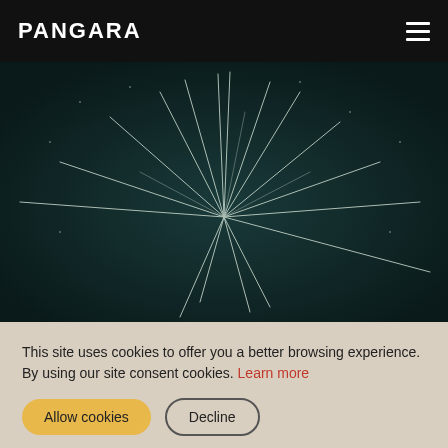PANGARA
[Figure (photo): Dark underwater or night-sky image showing a starburst or radial pattern of white scratch-like lines emanating from a central point, on a dark teal background]
This site uses cookies to offer you a better browsing experience. By using our site consent cookies. Learn more
Allow cookies | Decline